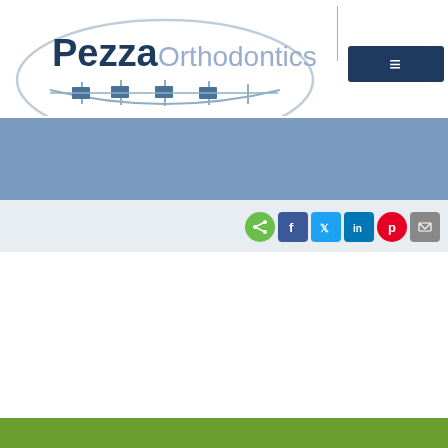[Figure (logo): Pezza Orthodontics logo with ellipse shape and bracket/teeth graphic below the text]
[Figure (screenshot): Dark navy blue hamburger menu button with three horizontal lines icon]
[Figure (infographic): Steel blue/slate blue horizontal banner bar]
[Figure (infographic): Row of social sharing icons: share (green), Facebook (blue), Twitter (light blue), LinkedIn (dark blue), Pinterest (red), Email (gray)]
[Figure (infographic): Olive/lime green horizontal footer bar at bottom of page]